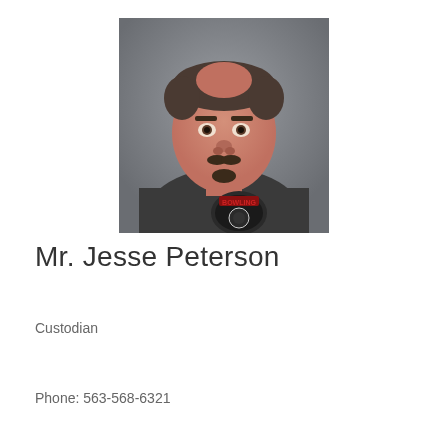[Figure (photo): Headshot photo of Mr. Jesse Peterson, a middle-aged man with a mustache and goatee, wearing a dark grey bowling t-shirt, photographed against a grey background.]
Mr. Jesse Peterson
Custodian
Phone: 563-568-6321